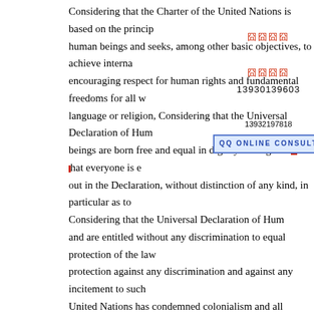Considering that the Charter of the United Nations is based on the princip human beings and seeks, among other basic objectives, to achieve interna encouraging respect for human rights and fundamental freedoms for all w language or religion, Considering that the Universal Declaration of Hum beings are born free and equal in dignity and rights and that everyone is e out in the Declaration, without distinction of any kind, in particular as to Considering that the Universal Declaration of Hum and are entitled without any discrimination to equal protection of the law protection against any discrimination and against any incitement to such United Nations has condemned colonialism and all practices of segregati therewith, and that the Declaration on the Granting of Independence to C in particular the necessity of bringing colonialism to a speedy and uncon doctrine of racial differentiation or superiority is scientifically false, mor dangerous, and that there is no justification for racial discrimination eithe account the other resolutions adopted by the General Assembly and the i specialized agencies, in particular the International Labour Organisation Scientific and Cultural Organization, in the field of discrimination, Takin international action and efforts in a number of countries have made it pos